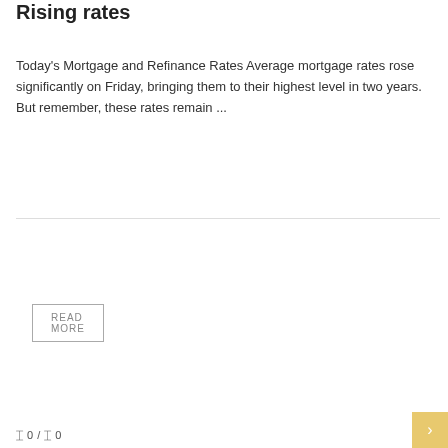Rising rates
Today's Mortgage and Refinance Rates Average mortgage rates rose significantly on Friday, bringing them to their highest level in two years. But remember, these rates remain ...
READ MORE
ONLINE LOANS
0 / 0